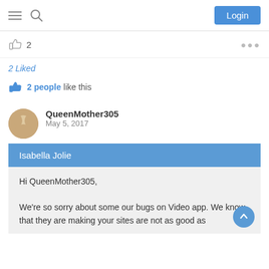Login
2
2 Liked
2 people like this
QueenMother305
May 5, 2017
Isabella Jolie
Hi QueenMother305,

We're so sorry about some our bugs on Video app. We know that they are making your sites are not as good as